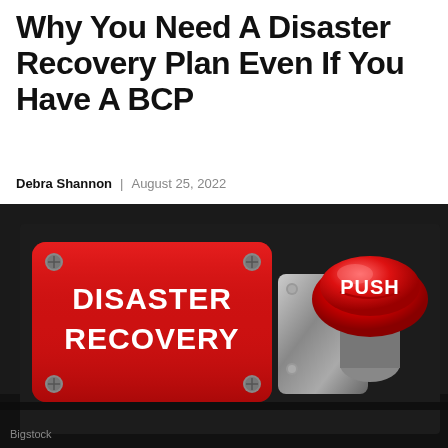Why You Need A Disaster Recovery Plan Even If You Have A BCP
Debra Shannon | August 25, 2022
[Figure (photo): A red emergency button panel labeled 'DISASTER RECOVERY' with screws at the corners, mounted on a dark surface, next to a large red 'PUSH' button on a chrome mounting. Industrial/emergency equipment aesthetic.]
Bigstock